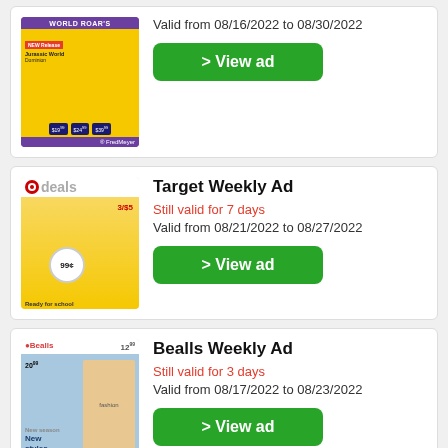[Figure (screenshot): Fred Meyer catalog ad thumbnail with purple background and Jurassic World Dominion movie promotion]
Valid from 08/16/2022 to 08/30/2022
> View ad
Target Weekly Ad
Still valid for 7 days
Valid from 08/21/2022 to 08/27/2022
> View ad
Bealls Weekly Ad
Still valid for 3 days
Valid from 08/17/2022 to 08/23/2022
> View ad